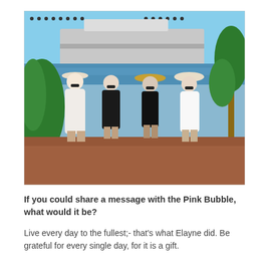[Figure (photo): Four women standing outdoors near a cruise ship port. Three wear hats (two wide-brimmed, one bucket hat). Clothing is white/black. Green tropical foliage and blue water visible in background.]
If you could share a message with the Pink Bubble, what would it be?
Live every day to the fullest;- that's what Elayne did. Be grateful for every single day, for it is a gift.